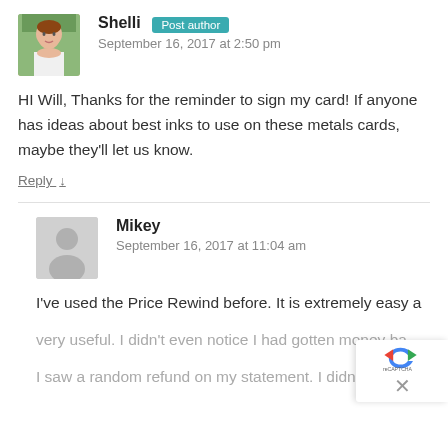[Figure (photo): Avatar photo of Shelli - a woman with red/brown hair smiling, wearing white shirt, outdoors background]
Shelli Post author
September 16, 2017 at 2:50 pm
HI Will, Thanks for the reminder to sign my card! If anyone has ideas about best inks to use on these metals cards, maybe they'll let us know.
Reply ↓
[Figure (illustration): Generic grey avatar placeholder icon for commenter Mikey]
Mikey
September 16, 2017 at 11:04 am
I've used the Price Rewind before. It is extremely easy a
very useful. I didn't even notice I had gotten money ba
I saw a random refund on my statement. I didn't imme
[Figure (logo): reCAPTCHA logo and X close button overlay in bottom right corner]